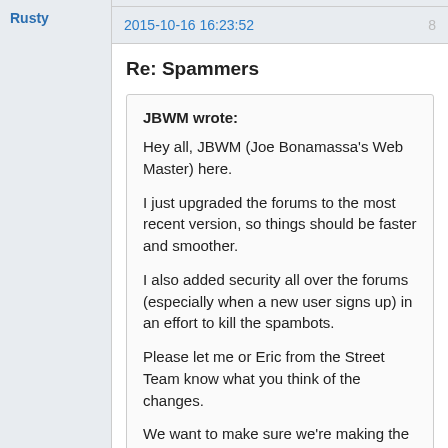Rusty
2015-10-16 16:23:52
8
Re: Spammers
JBWM wrote:
Hey all, JBWM (Joe Bonamassa's Web Master) here.
I just upgraded the forums to the most recent version, so things should be faster and smoother.
I also added security all over the forums (especially when a new user signs up) in an effort to kill the spambots.

Please let me or Eric from the Street Team know what you think of the changes.

We want to make sure we're making the forums better for everyone and value your input on our efforts.